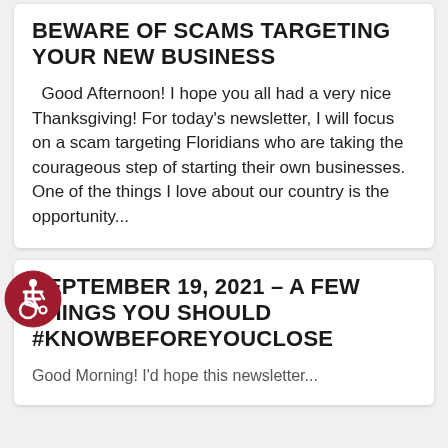BEWARE OF SCAMS TARGETING YOUR NEW BUSINESS
Good Afternoon! I hope you all had a very nice Thanksgiving! For today's newsletter, I will focus on a scam targeting Floridians who are taking the courageous step of starting their own businesses.  One of the things I love about our country is the opportunity...
[Figure (illustration): Red circular accessibility icon showing a person in a wheelchair]
SEPTEMBER 19, 2021 – A FEW THINGS YOU SHOULD #KNOWBEFOREYOUCLOSE
Good Morning! I'd hope this newsletter...